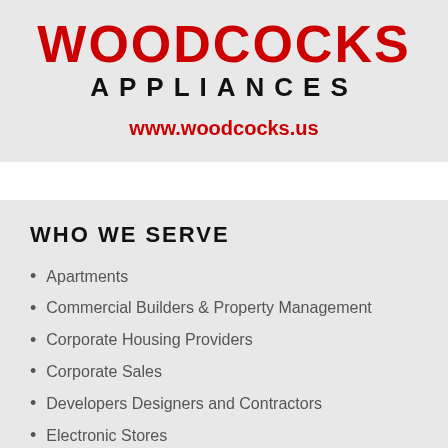[Figure (logo): Woodcocks Appliances logo with red bold WOODCOCKS text, black APPLIANCES text, and red website URL www.woodcocks.us on grey background]
WHO WE SERVE
Apartments
Commercial Builders & Property Management
Corporate Housing Providers
Corporate Sales
Developers Designers and Contractors
Electronic Stores
Offices